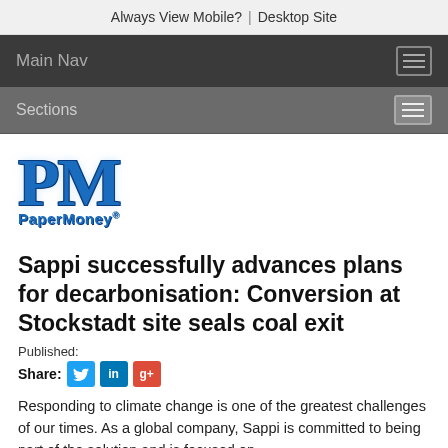Always View Mobile?  |  Desktop Site
Main Nav
Sections
[Figure (logo): PaperMoney PM logo with large blue outlined PM letters and PaperMoney text below]
Sappi successfully advances plans for decarbonisation: Conversion at Stockstadt site seals coal exit
Published:
Share: [Twitter] [LinkedIn] [Google+]
Responding to climate change is one of the greatest challenges of our times. As a global company, Sappi is committed to being part of the solution and is focused on